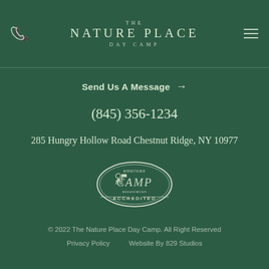THE NATURE PLACE DAY CAMP
Send Us A Message →
(845) 356-1234
285 Hungry Hollow Road Chestnut Ridge, NY 10977
[Figure (logo): American Camp Association Accredited badge/seal oval logo]
© 2022 The Nature Place Day Camp. All Right Reserved
Privacy Policy   Website By 829 Studios